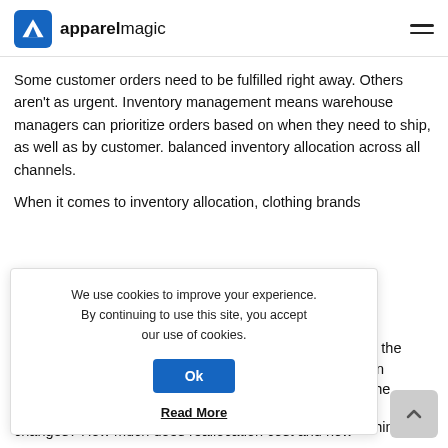apparelmagic
Some customer orders need to be fulfilled right away. Others aren't as urgent. Inventory management means warehouse managers can prioritize orders based on when they need to ship, as well as by customer. balanced inventory allocation across all channels.
When it comes to inventory allocation, clothing brands
k of
We use cookies to improve your experience. By continuing to use this site, you accept our use of cookies.
Ok
Read More
account the
distribution
at the
e in the stores?
nething
changes? How much does reallocation cost and how